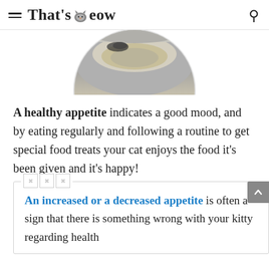That'sMeow
[Figure (photo): Partial circular photo of a cat looking down at a plate of wet cat food, cropped to show only the top portion of the circle]
A healthy appetite indicates a good mood, and by eating regularly and following a routine to get special food treats your cat enjoys the food it's been given and it's happy!
An increased or a decreased appetite is often a sign that there is something wrong with your kitty regarding health